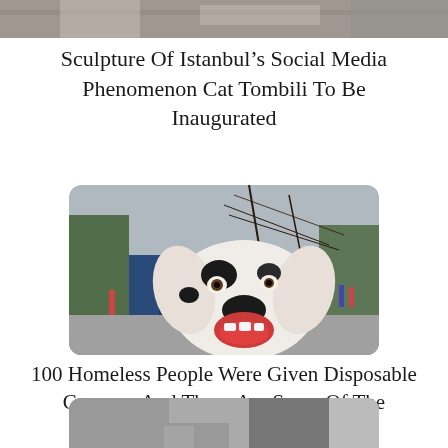[Figure (photo): Close-up photo of a cat (Tombili), partially visible at top of page, cropped]
Sculpture Of Istanbul's Social Media Phenomenon Cat Tombili To Be Inaugurated
[Figure (photo): A happy Dalmatian dog with mouth open, photographed in front of a tall ship and a blue building, outdoor setting]
100 Homeless People Were Given Disposable Cameras And These Are Some Of The Amazing Results
[Figure (photo): Black and white photo of a person sitting, partially visible at bottom of page, cropped]